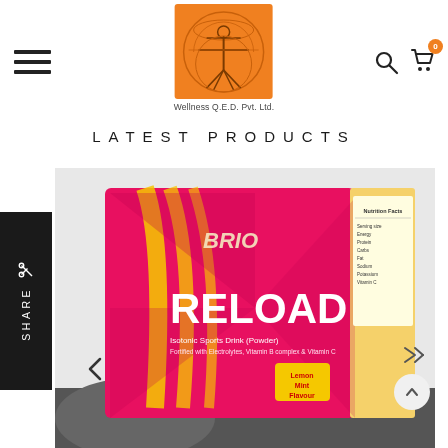[Figure (logo): Wellness Q.E.D. Pvt. Ltd. logo — orange square with Vitruvian Man circle illustration]
Wellness Q.E.D. Pvt. Ltd.
LATEST PRODUCTS
[Figure (photo): BRIO RELOAD Isotonic Sports Drink Powder product box — red/pink and yellow box with RELOAD text, held by athlete]